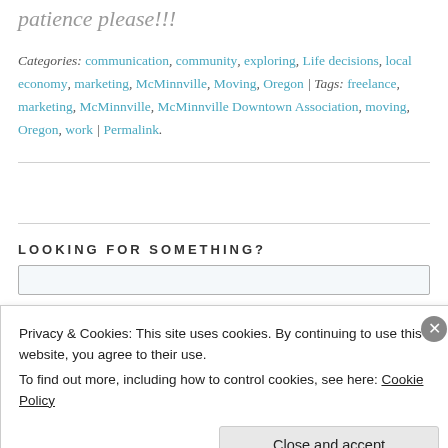patience please!!!
Categories: communication, community, exploring, Life decisions, local economy, marketing, McMinnville, Moving, Oregon | Tags: freelance, marketing, McMinnville, McMinnville Downtown Association, moving, Oregon, work | Permalink.
LOOKING FOR SOMETHING?
Privacy & Cookies: This site uses cookies. By continuing to use this website, you agree to their use.
To find out more, including how to control cookies, see here: Cookie Policy
Close and accept